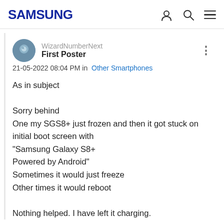SAMSUNG
WizardNumberNext
First Poster
21-05-2022 08:04 PM in Other Smartphones
As in subject

Sorry behind
One my SGS8+ just frozen and then it got stuck on initial boot screen with
"Samsung Galaxy S8+
Powered by Android"
Sometimes it would just freeze
Other times it would reboot

Nothing helped. I have left it charging.